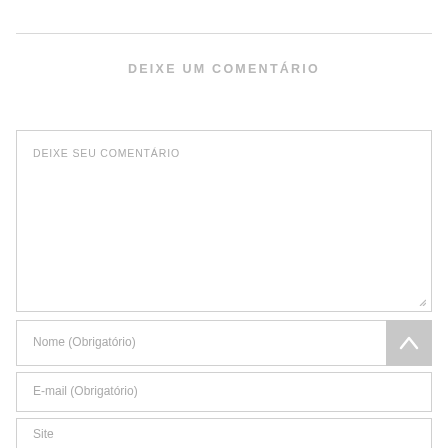DEIXE UM COMENTÁRIO
DEIXE SEU COMENTÁRIO
Nome (Obrigatório)
E-mail (Obrigatório)
Site